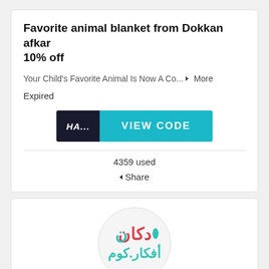Favorite animal blanket from Dokkan afkar 10% off
Your Child's Favorite Animal Is Now A Co... ▼ More
Expired
[Figure (other): Button showing 'HA...' on dark background and 'VIEW CODE' on teal background]
4359 used
◄ Share
[Figure (logo): Circular logo for Dokkan Afkar with Arabic text in red/teal colors with a teal water drop icon]
Dokkan Afkar